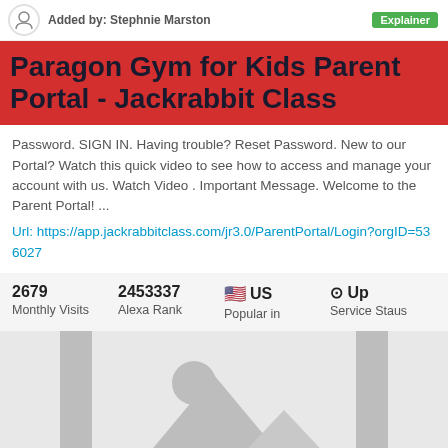Added by: Stephnie Marston  Explainer
Paragon Gym for Kids Parent Portal - Jackrabbit Class
Password. SIGN IN. Having trouble? Reset Password. New to our Portal? Watch this quick video to see how to access and manage your account with us. Watch Video . Important Message. Welcome to the Parent Portal! ...
Url: https://app.jackrabbitclass.com/jr3.0/ParentPortal/Login?orgID=536027
|  |  |
| --- | --- |
| 2679 | 2453337 | 🇺🇸 US | ⊙ Up |
| Monthly Visits | Alexa Rank | Popular in | Service Staus |
[Figure (photo): Image placeholder with grey mountain/landscape silhouette icon and two vertical grey bars on sides]